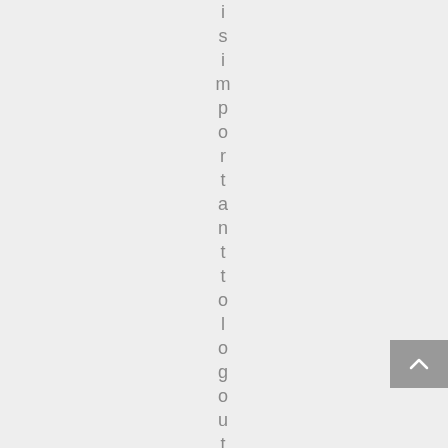is important to logout
[Figure (other): A scroll-to-top button with an upward caret arrow, positioned at the bottom right corner of the page]